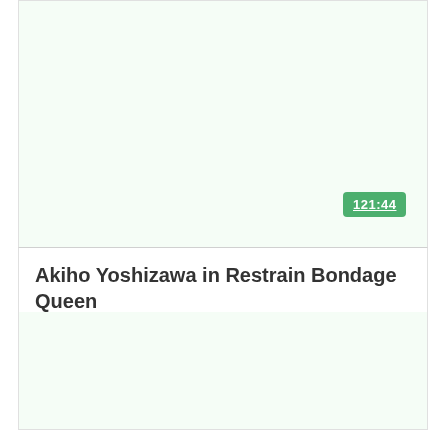[Figure (other): Video thumbnail placeholder area, light greenish-white background]
121:44
Akiho Yoshizawa in Restrain Bondage Queen